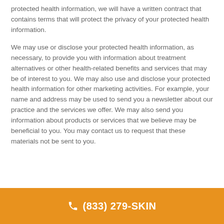protected health information, we will have a written contract that contains terms that will protect the privacy of your protected health information.
We may use or disclose your protected health information, as necessary, to provide you with information about treatment alternatives or other health-related benefits and services that may be of interest to you. We may also use and disclose your protected health information for other marketing activities. For example, your name and address may be used to send you a newsletter about our practice and the services we offer. We may also send you information about products or services that we believe may be beneficial to you. You may contact us to request that these materials not be sent to you.
(833) 279-SKIN